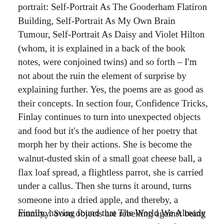portrait: Self-Portrait As The Gooderham Flatiron Building, Self-Portrait As My Own Brain Tumour, Self-Portrait As Daisy and Violet Hilton (whom, it is explained in a back of the book notes, were conjoined twins) and so forth – I'm not about the ruin the element of surprise by explaining further. Yes, the poems are as good as their concepts. In section four, Confidence Tricks, Finlay continues to turn into unexpected objects and food but it's the audience of her poetry that morph her by their actions. She is become the walnut-dusted skin of a small goat cheese ball, a flax loaf spread, a flightless parrot, she is carried under a callus. Then she turns it around, turns someone into a dried apple, and thereby, a mummy. Soon objects are rebelling against being turned into people; insidious little tufts of lint grow like moss on a pair of lovers.
Finally, having found that The World We Already